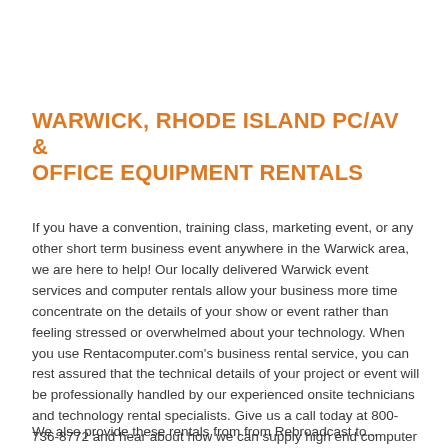WARWICK, RHODE ISLAND PC/AV & OFFICE EQUIPMENT RENTALS
If you have a convention, training class, marketing event, or any other short term business event anywhere in the Warwick area, we are here to help! Our locally delivered Warwick event services and computer rentals allow your business more time concentrate on the details of your show or event rather than feeling stressed or overwhelmed about your technology. When you use Rentacomputer.com's business rental service, you can rest assured that the technical details of your project or event will be professionally handled by our experienced onsite technicians and technology rental specialists. Give us a call today at 800-736-8772 and hear about how we can supply high end computer rentals at affordable rates!
We also provide these rentals from from Rebroadcast to...